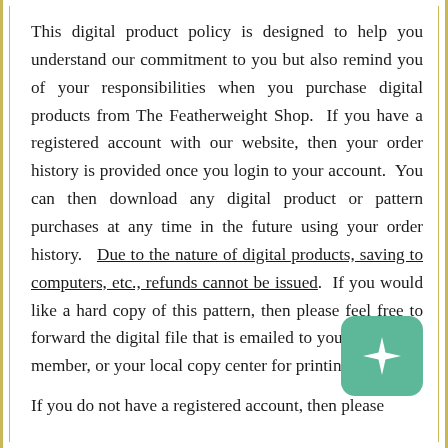This digital product policy is designed to help you understand our commitment to you but also remind you of your responsibilities when you purchase digital products from The Featherweight Shop. If you have a registered account with our website, then your order history is provided once you login to your account. You can then download any digital product or pattern purchases at any time in the future using your order history. Due to the nature of digital products, saving to computers, etc., refunds cannot be issued. If you would like a hard copy of this pattern, then please feel free to forward the digital file that is emailed to you to a family member, or your local copy center for printing.
[Figure (logo): Teal/green rounded square badge with a white four-pointed star/compass rose icon]
If you do not have a registered account, then please